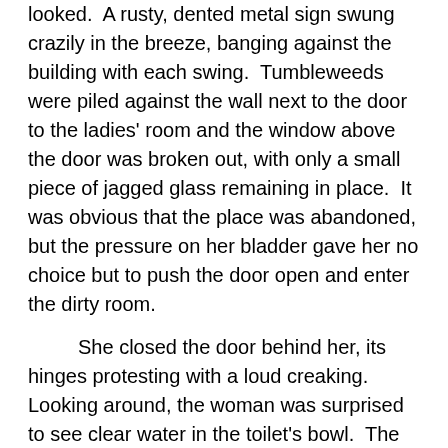looked.  A rusty, dented metal sign swung crazily in the breeze, banging against the building with each swing.  Tumbleweeds were piled against the wall next to the door to the ladies' room and the window above the door was broken out, with only a small piece of jagged glass remaining in place.  It was obvious that the place was abandoned, but the pressure on her bladder gave her no choice but to push the door open and enter the dirty room.
She closed the door behind her, its hinges protesting with a loud creaking.  Looking around, the woman was surprised to see clear water in the toilet's bowl.  The seat didn't look too unsanitary; she pulled a handful of tissue from her pocket and spread it out on the seat before she sat down.
The woman listened to all the sounds that echoed through the broken window: the howling of the wind, the banging of the sign, and the steady purr of the idling diesel; its turbocharger adding a muted whistle to the